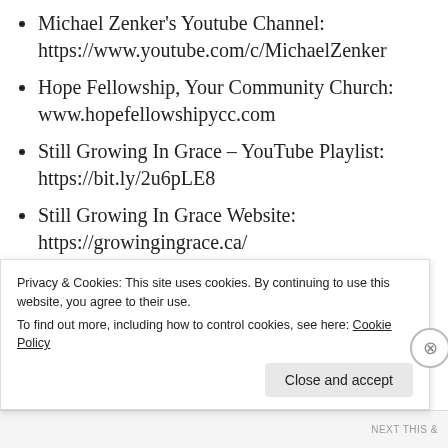Michael Zenker's Youtube Channel: https://www.youtube.com/c/MichaelZenker
Hope Fellowship, Your Community Church: www.hopefellowshipycc.com
Still Growing In Grace – YouTube Playlist: https://bit.ly/2u6pLE8
Still Growing In Grace Website: https://growingingrace.ca/
Advertisements
[Figure (logo): P2 logo: dark square icon with grid pattern and bold text 'P2']
Privacy & Cookies: This site uses cookies. By continuing to use this website, you agree to their use. To find out more, including how to control cookies, see here: Cookie Policy
Close and accept